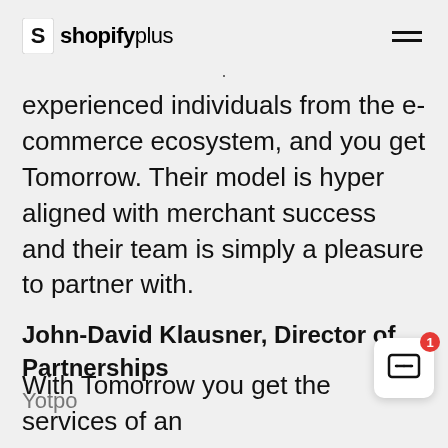shopifyplus
experienced individuals from the e-commerce ecosystem, and you get Tomorrow. Their model is hyper aligned with merchant success and their team is simply a pleasure to partner with.
John-David Klausner, Director of Partnerships
Yotpo
With Tomorrow you get the services of an